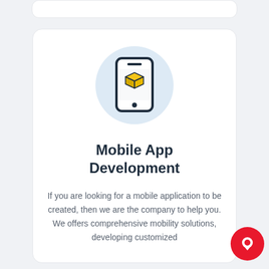[Figure (illustration): Mobile phone icon with a 3D yellow cube on the screen, inside a light blue circle]
Mobile App Development
If you are looking for a mobile application to be created, then we are the company to help you. We offers comprehensive mobility solutions, developing customized mobile applications and more.